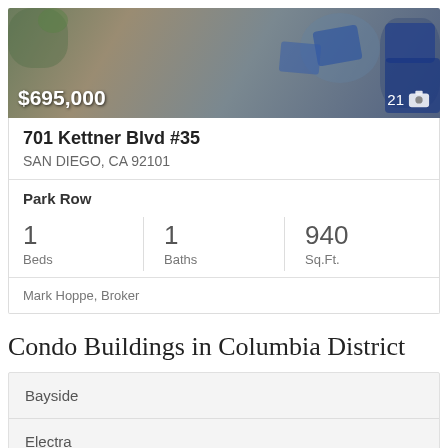[Figure (photo): Aerial/overhead photo of a property pool area with blue woven lounge chairs and patio furniture]
$695,000
21 📷
701 Kettner Blvd #35
SAN DIEGO, CA 92101
Park Row
| Beds | Baths | Sq.Ft. |
| --- | --- | --- |
| 1 | 1 | 940 |
Mark Hoppe, Broker
Condo Buildings in Columbia District
Bayside
Electra
Marina Park